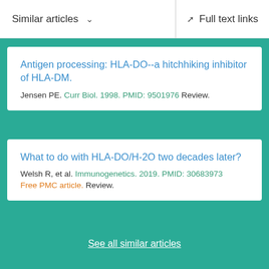Similar articles    Full text links
Antigen processing: HLA-DO--a hitchhiking inhibitor of HLA-DM.
Jensen PE. Curr Biol. 1998. PMID: 9501976 Review.
What to do with HLA-DO/H-2O two decades later?
Welsh R, et al. Immunogenetics. 2019. PMID: 30683973 Free PMC article. Review.
See all similar articles